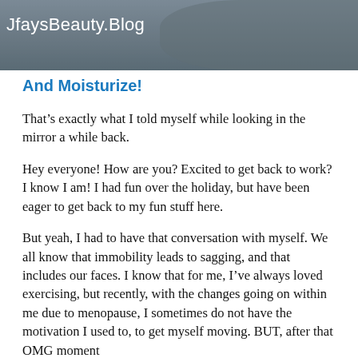[Figure (photo): Partial photo of a person wearing a grey sweater, cropped at top of page. Blog watermark text 'JfaysBeauty.Blog' overlaid on the image.]
And Moisturize!
That’s exactly what I told myself while looking in the mirror a while back.
Hey everyone! How are you? Excited to get back to work? I know I am! I had fun over the holiday, but have been eager to get back to my fun stuff here.
But yeah, I had to have that conversation with myself. We all know that immobility leads to sagging, and that includes our faces. I know that for me, I’ve always loved exercising, but recently, with the changes going on within me due to menopause, I sometimes do not have the motivation I used to, to get myself moving. BUT, after that OMG moment looking in the mirror, I found a new motivation. I